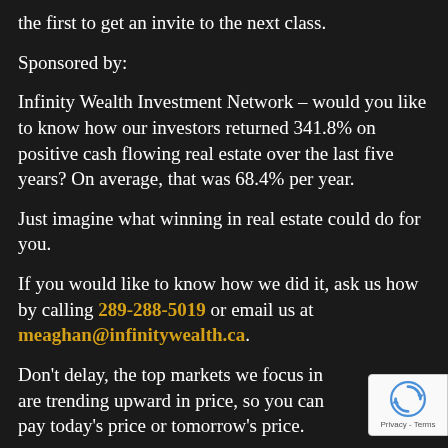the first to get an invite to the next class.
Sponsored by:
Infinity Wealth Investment Network – would you like to know how our investors returned 341.8% on positive cash flowing real estate over the last five years? On average, that was 68.4% per year.
Just imagine what winning in real estate could do for you.
If you would like to know how we did it, ask us how by calling 289-288-5019 or email us at meaghan@infinitywealth.ca.
Don't delay, the top markets we focus in are trending upward in price, so you can pay today's price or tomorrow's price.
[Figure (logo): reCAPTCHA badge with rotating arrows icon and Privacy - Terms text]